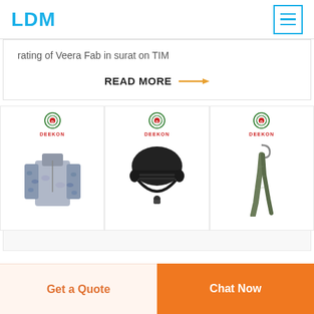LDM
rating of Veera Fab in surat on TIM
READ MORE →
[Figure (photo): Three product cards from DEEKON brand: 1) Camouflage long-sleeve combat shirt in grey/blue pattern, 2) Black tactical MICH-style helmet with straps and visor, 3) Olive green scarf/shemagh hanging on hook]
Get a Quote
Chat Now